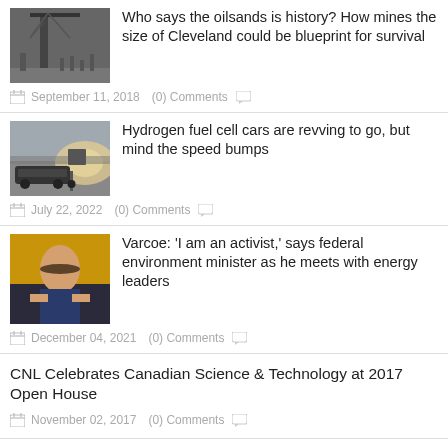[Figure (photo): Industrial tower/crane structure against dark sky]
Who says the oilsands is history? How mines the size of Cleveland could be blueprint for survival
September 11, 2018   (0) Comments
[Figure (photo): Car and person silhouette with explosion/dust cloud]
Hydrogen fuel cell cars are revving to go, but mind the speed bumps
July 22, 2022   (0) Comments
[Figure (photo): Man in suit gesturing, federal minister]
Varcoe: 'I am an activist,' says federal environment minister as he meets with energy leaders
December 04, 2021   (0) Comments
CNL Celebrates Canadian Science & Technology at 2017 Open House
November 02, 2017   (0) Comments
Renault-Nissan Alliance and Dongfeng Motor Group Co., Ltd. Forge Partnership to Co-Develop Electric Vehicles in China
April 11, 2018   (0) Comments